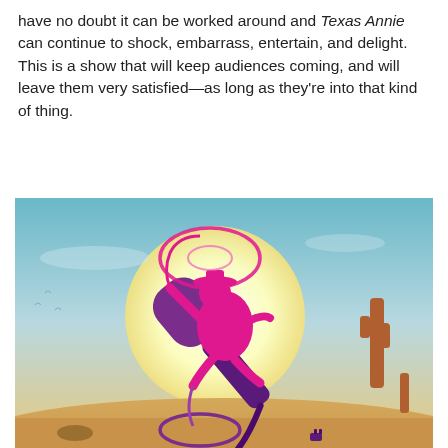have no doubt it can be worked around and Texas Annie can continue to shock, embarrass, entertain, and delight. This is a show that will keep audiences coming, and will leave them very satisfied—as long as they're into that kind of thing.
[Figure (illustration): Illustration of a pink cowgirl silhouette riding a large purple microphone like a bucking bronco, swinging a lasso, set against a desert sunset background with a large glowing sun, sand dunes, a cactus, and birds in the sky. The image is promotional art for 'Texas Annie'.]